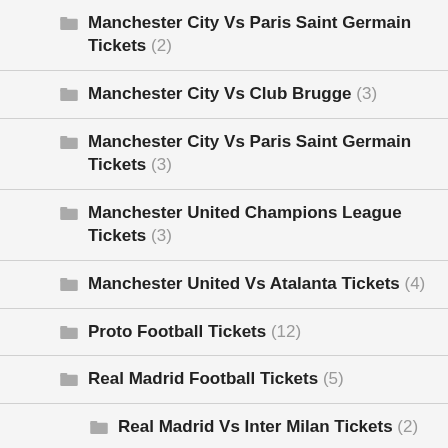Manchester City Vs Paris Saint Germain Tickets (2)
Manchester City Vs Club Brugge (3)
Manchester City Vs Paris Saint Germain Tickets (3)
Manchester United Champions League Tickets (3)
Manchester United Vs Atalanta Tickets (4)
Proto Football Tickets (12)
Real Madrid Football Tickets (5)
Real Madrid Vs Inter Milan Tickets (2)